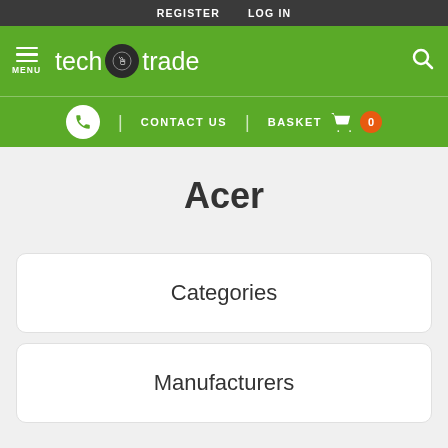REGISTER  LOG IN
[Figure (logo): tech&trade logo with green navigation bar, menu icon, and search icon]
CONTACT US  BASKET  0
Acer
Categories
Manufacturers